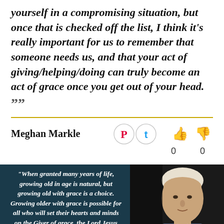yourself in a compromising situation, but once that is checked off the list, I think it's really important for us to remember that someone needs us, and that your act of giving/helping/doing can truly become an act of grace once you get out of your head. ””
Meghan Markle
[Figure (infographic): Social share icons (Pinterest red circle, Twitter blue circle) and voting thumbs up/down icons each with count 0]
[Figure (infographic): Quote card with dark teal/navy background. Left side shows italic bold white text: "When granted many years of life, growing old in age is natural, but growing old with grace is a choice. Growing older with grace is possible for all who will set their hearts and minds on the Giver of grace, the Lord Jesus Christ." Right side shows a photo of an elderly man (Billy Graham) against dark background.]